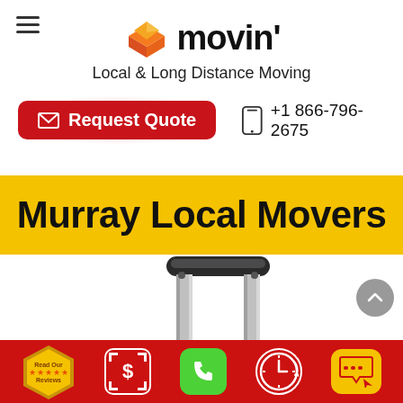[Figure (logo): Movin' moving company logo with orange/red layered diamond icon and bold 'movin'' text]
Local & Long Distance Moving
[Figure (infographic): Request Quote button (red rounded rectangle with envelope icon) and phone number +1 866-796-2675 with phone icon]
Murray Local Movers
[Figure (photo): Luggage/suitcase handle and telescoping rails against white background]
[Figure (infographic): Footer bar with review badge, dollar scan icon, green phone call icon, clock icon, and chat bubble icon]